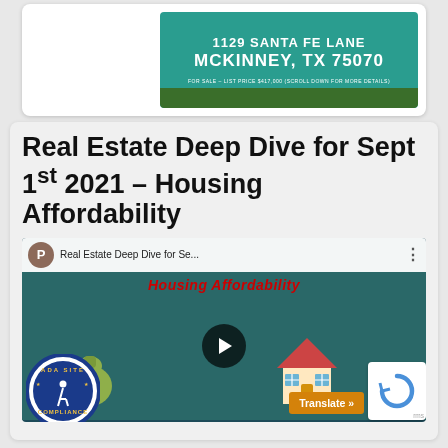[Figure (photo): Real estate listing card showing a property at McKinney, TX 75070 for sale at list price $417,000, with a teal background and grass at the bottom]
Real Estate Deep Dive for Sept 1st 2021 – Housing Affordability
[Figure (screenshot): YouTube video thumbnail for Real Estate Deep Dive for Sept 1st 2021 - Housing Affordability, showing a play button, a money bag, and a house illustration, with an ADA Site Compliance badge in the lower left and a Translate button in the lower right]